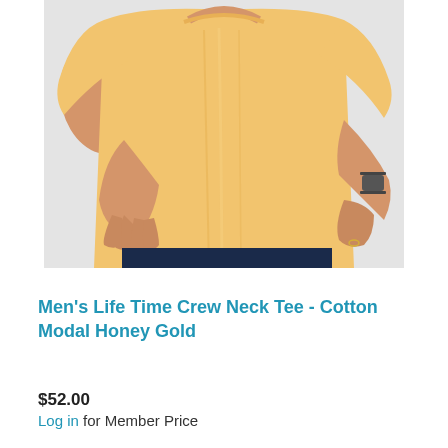[Figure (photo): A man running or jogging, wearing a yellow/honey gold crew neck t-shirt and dark navy shorts, with a smartwatch on his wrist. Shot from mid-torso up against a light gray background.]
Men's Life Time Crew Neck Tee - Cotton Modal Honey Gold
$52.00
Log in for Member Price